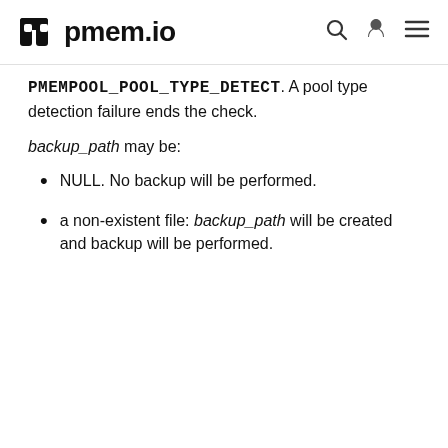pmem.io
PMEMPOOL_POOL_TYPE_DETECT. A pool type detection failure ends the check.
backup_path may be:
NULL. No backup will be performed.
a non-existent file: backup_path will be created and backup will be performed.